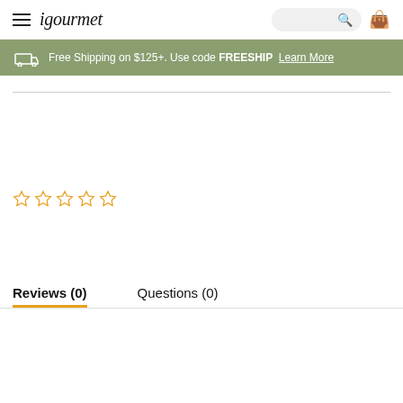igourmet — navigation header with logo, search, and cart
Free Shipping on $125+. Use code FREESHIP Learn More
[Figure (other): Five empty star rating icons in orange/gold outline]
Reviews (0)
Questions (0)